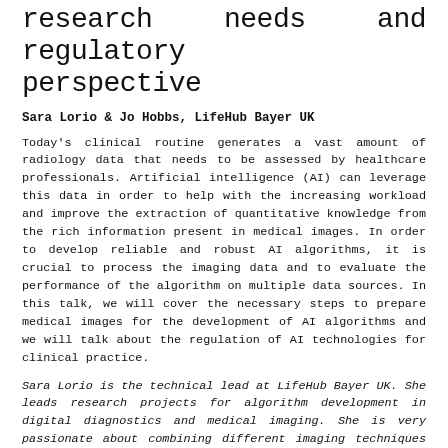research needs and regulatory perspective
Sara Lorio & Jo Hobbs, LifeHub Bayer UK
Today's clinical routine generates a vast amount of radiology data that needs to be assessed by healthcare professionals. Artificial intelligence (AI) can leverage this data in order to help with the increasing workload and improve the extraction of quantitative knowledge from the rich information present in medical images. In order to develop reliable and robust AI algorithms, it is crucial to process the imaging data and to evaluate the performance of the algorithm on multiple data sources. In this talk, we will cover the necessary steps to prepare medical images for the development of AI algorithms and we will talk about the regulation of AI technologies for clinical practice.
Sara Lorio is the technical lead at LifeHub Bayer UK. She leads research projects for algorithm development in digital diagnostics and medical imaging. She is very passionate about combining different imaging techniques with cutting-edge data analysis in order to improve diagnostic and clinical practice.